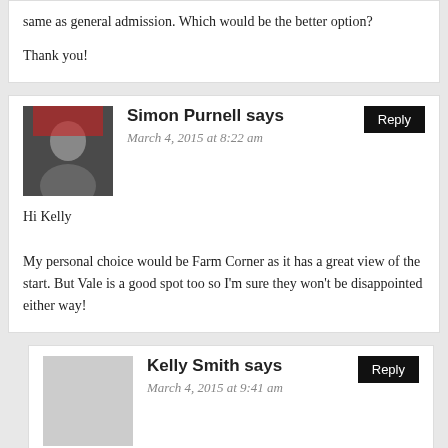same as general admission. Which would be the better option?

Thank you!
Simon Purnell says
March 4, 2015 at 8:22 am
Hi Kelly

My personal choice would be Farm Corner as it has a great view of the start. But Vale is a good spot too so I'm sure they won't be disappointed either way!
Kelly Smith says
March 4, 2015 at 9:41 am
Thanks Simon! Is it worth buying the car parking pass rather than sending them on the train?? The